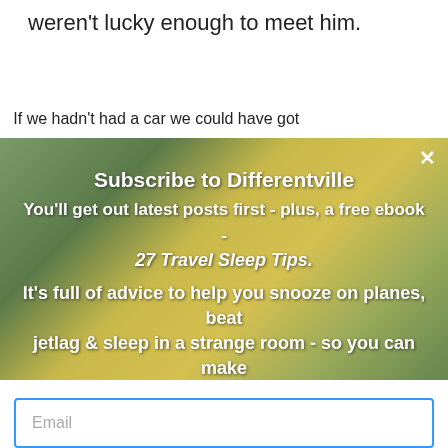weren't lucky enough to meet him.
If we hadn't had a car we could have got
[Figure (screenshot): Newsletter subscription popup overlay with background photo of a round futuristic UFO-shaped building (Futuro House) among trees. White bold text reads: Subscribe to Differentville / You'll get out latest posts first - plus, a free ebook - / 27 Travel Sleep Tips. / It's full of advice to help you snooze on planes, beat jetlag & sleep in a strange room - so you can make the most of your trip. A close (×) button is in the top right corner. Below the image is an email input field and a blue SUBSCRIBE button.]
Email
SUBSCRIBE